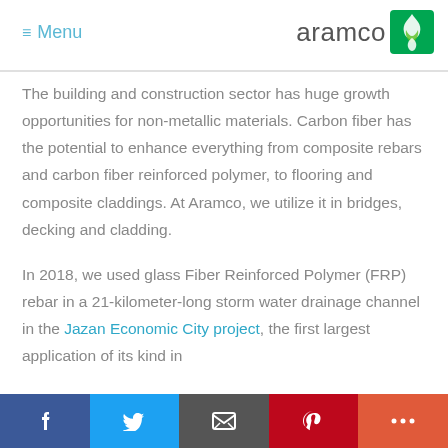≡ Menu  aramco
The building and construction sector has huge growth opportunities for non-metallic materials. Carbon fiber has the potential to enhance everything from composite rebars and carbon fiber reinforced polymer, to flooring and composite claddings. At Aramco, we utilize it in bridges, decking and cladding.
In 2018, we used glass Fiber Reinforced Polymer (FRP) rebar in a 21-kilometer-long storm water drainage channel in the Jazan Economic City project, the first largest application of its kind in
f  [twitter]  [email]  p  +